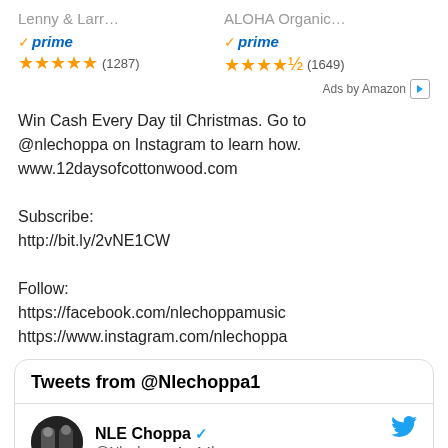Lenny & Larr…
ALOHA Organic…
prime (1287)
prime (1649)
Ads by Amazon
Win Cash Every Day til Christmas. Go to @nlechoppa on Instagram to learn how. www.12daysofcottonwood.com

Subscribe:
http://bit.ly/2vNE1CW

Follow:
https://facebook.com/nlechoppamusic
https://www.instagram.com/nlechoppa
Tweets from @Nlechoppa1
NLE Choppa @Nlechoppa1 · 14h